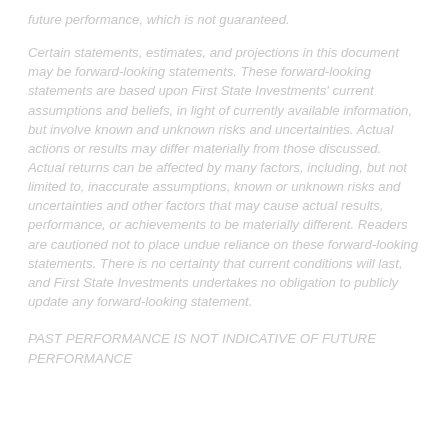future performance, which is not guaranteed.
Certain statements, estimates, and projections in this document may be forward-looking statements. These forward-looking statements are based upon First State Investments' current assumptions and beliefs, in light of currently available information, but involve known and unknown risks and uncertainties. Actual actions or results may differ materially from those discussed. Actual returns can be affected by many factors, including, but not limited to, inaccurate assumptions, known or unknown risks and uncertainties and other factors that may cause actual results, performance, or achievements to be materially different. Readers are cautioned not to place undue reliance on these forward-looking statements. There is no certainty that current conditions will last, and First State Investments undertakes no obligation to publicly update any forward-looking statement.
PAST PERFORMANCE IS NOT INDICATIVE OF FUTURE PERFORMANCE